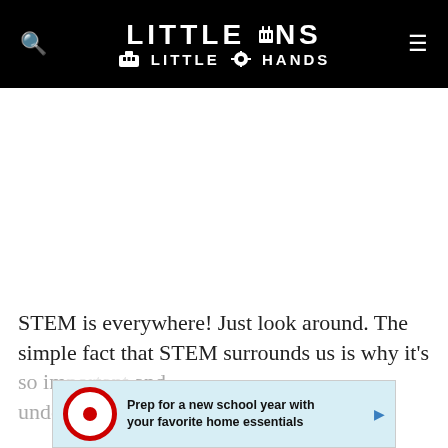LITTLE BINS FOR LITTLE HANDS
[Figure (screenshot): White advertisement space placeholder]
STEM is everywhere! Just look around. The simple fact that STEM surrounds us is why it's so important to teach kids about and under...
[Figure (infographic): Target advertisement overlay: 'Prep for a new school year with your favorite home essentials']